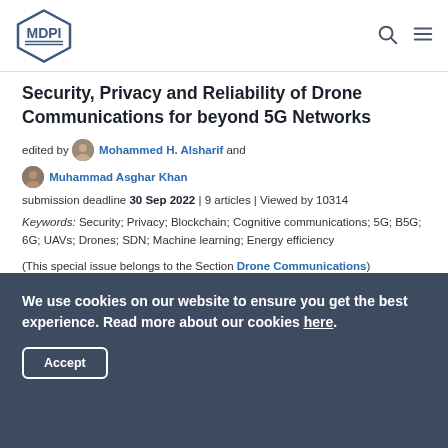MDPI
Security, Privacy and Reliability of Drone Communications for beyond 5G Networks
edited by Mohammed H. Alsharif and Muhammad Asghar Khan
submission deadline 30 Sep 2022 | 9 articles | Viewed by 10314
Keywords: Security; Privacy; Blockchain; Cognitive communications; 5G; B5G; 6G; UAVs; Drones; SDN; Machine learning; Energy efficiency
(This special issue belongs to the Section Drone Communications)
We use cookies on our website to ensure you get the best experience. Read more about our cookies here.
Accept